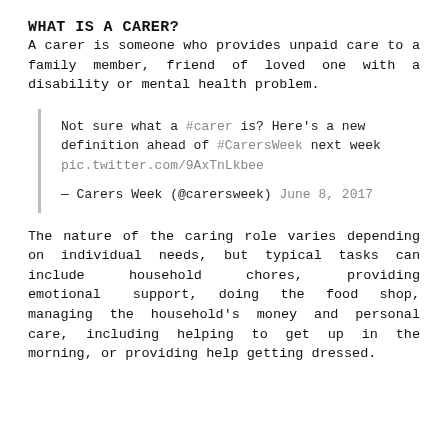WHAT IS A CARER?
A carer is someone who provides unpaid care to a family member, friend of loved one with a disability or mental health problem.
Not sure what a #carer is? Here's a new definition ahead of #CarersWeek next week pic.twitter.com/9AxTnLkbee
— Carers Week (@carersweek) June 8, 2017
The nature of the caring role varies depending on individual needs, but typical tasks can include household chores, providing emotional support, doing the food shop, managing the household's money and personal care, including helping to get up in the morning, or providing help getting dressed.